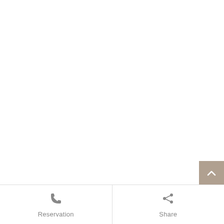[Figure (other): Blank white main content area of a webpage]
[Figure (other): Scroll-to-top button, square with tan/beige background and white upward chevron arrow]
Reservation
Share